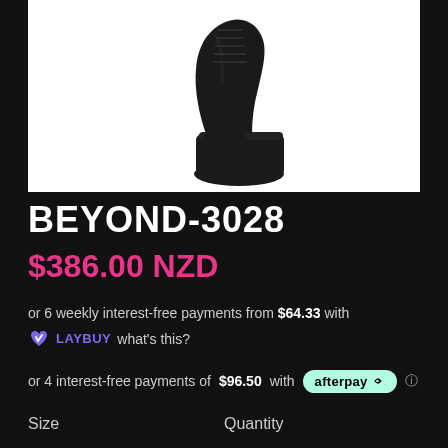[Figure (photo): Black high-heel platform boot (BEYOND-3028) photographed against a white background. Extremely tall stiletto heel with thick platform sole. Lace-up front. All black leather.]
BEYOND-3028
$386.00 NZD
or 6 weekly interest-free payments from $64.33 with Laybuy what's this?
or 4 interest-free payments of $96.50 with afterpay
Size   Quantity